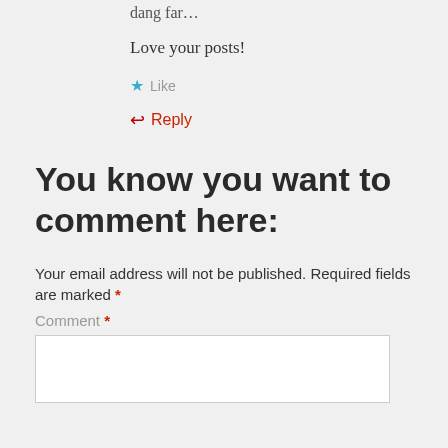dang far…
Love your posts!
★ Like
↩ Reply
You know you want to comment here:
Your email address will not be published. Required fields are marked *
Comment *